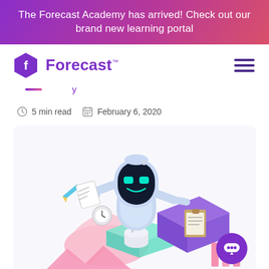The Forecast Academy has arrived! Check out our brand new learning portal
[Figure (logo): Forecast logo: purple hexagon with F icon and 'Forecast' wordmark in purple]
5 min read  February 6, 2020
[Figure (illustration): Friendly robot illustration in isometric style, holding a pencil and clipboard, sitting on colorful geometric shapes (pink, teal, purple), with pink bar charts]